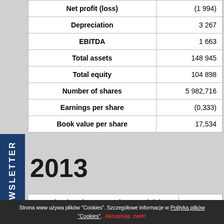|  |  |
| --- | --- |
| Net profit (loss) | (1 994) |
| Depreciation | 3 267 |
| EBITDA | 1 663 |
| Total assets | 148 945 |
| Total equity | 104 898 |
| Number of shares | 5 982,716 |
| Earnings per share | (0,333) |
| Book value per share | 17,534 |
2013
|  |  |
| --- | --- |
| Sales (Products, Goods, Materials) | 158 618 |
| Operating profit and loss | 3 595 |
Strona www używa plików "Cookies". Szczegółowe informacje w Polityka plików "Cookies". Akceptuję, zwiń!